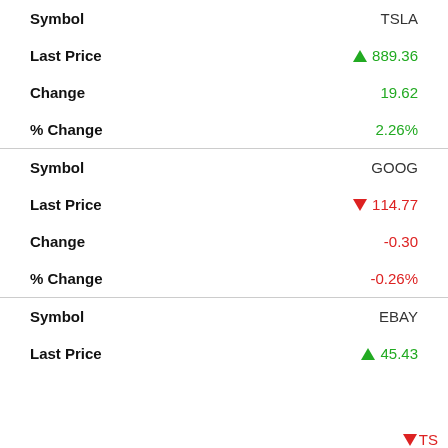| Field | Value |
| --- | --- |
| Symbol | TSLA |
| Last Price | ▲ 889.36 |
| Change | 19.62 |
| % Change | 2.26% |
| Symbol | GOOG |
| Last Price | ▼ 114.77 |
| Change | -0.30 |
| % Change | -0.26% |
| Symbol | EBAY |
| Last Price | ▲ 45.43 |